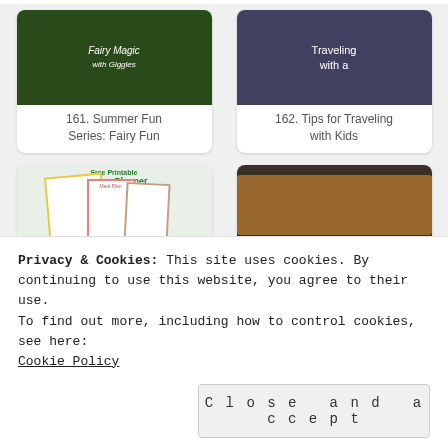[Figure (photo): Summer Fun Series: Fairy Fun thumbnail with dark green background and cursive text]
161. Summer Fun Series: Fairy Fun
[Figure (photo): Tips for Traveling with Kids thumbnail with dark background and white text]
162. Tips for Traveling with Kids
[Figure (illustration): Free Printable Fitness Planner graphic showing meal plan and workout tracker sheets on green dotted background]
163. Free Meal Planning Fitness J
[Figure (photo): Four Ingredient Cheese and Asparagus croissants on dark slate]
164. Cheese and Asparagus Stuffed C
[Figure (photo): Person in blue top standing outdoors]
[Figure (photo): Roasted Asparagus Recipe banner with green header and food image]
Privacy & Cookies: This site uses cookies. By continuing to use this website, you agree to their use.
To find out more, including how to control cookies, see here:
Cookie Policy
Close and accept